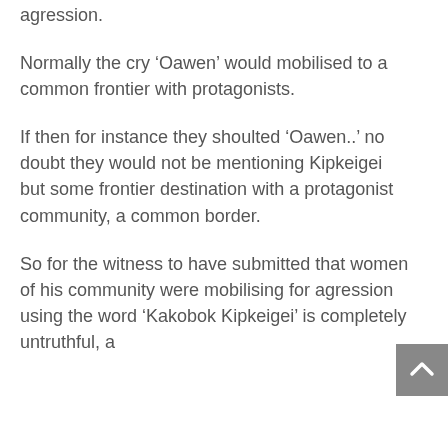agression.
Normally the cry ‘Oawen’ would mobilised to a common frontier with protagonists.
If then for instance they shoulted ‘Oawen..’ no doubt they would not be mentioning Kipkeigei but some frontier destination with a protagonist community, a common border.
So for the witness to have submitted that women of his community were mobilising for agression using the word ‘Kakobok Kipkeigei’ is completely untruthful, a